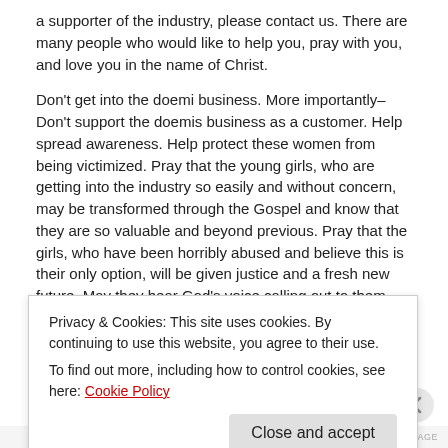a supporter of the industry, please contact us. There are many people who would like to help you, pray with you, and love you in the name of Christ.
Don't get into the doemi business. More importantly–Don't support the doemis business as a customer. Help spread awareness. Help protect these women from being victimized. Pray that the young girls, who are getting into the industry so easily and without concern, may be transformed through the Gospel and know that they are so valuable and beyond previous. Pray that the girls, who have been horribly abused and believe this is their only option, will be given justice and a fresh new future. May they hear God's voice calling out to them. Lord, break our hearts as your heart breaks, so that we may fight for your freedom and justice to reign over our precious community. Give the
Privacy & Cookies: This site uses cookies. By continuing to use this website, you agree to their use.
To find out more, including how to control cookies, see here: Cookie Policy
Close and accept